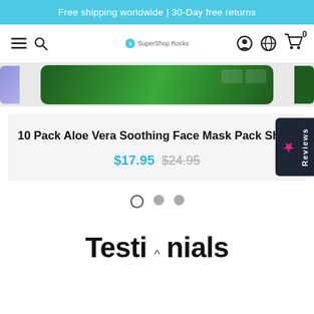Free shipping worldwide | 30-Day free returns
[Figure (screenshot): Website navigation bar with hamburger menu, search icon, SuperShop.Rocks logo, account icon, globe icon, and cart icon with badge 0]
[Figure (photo): Product image strip showing green face mask packages, with partial purple package on left]
10 Pack Aloe Vera Soothing Face Mask Pack Sheet
$17.95 $24.95
[Figure (other): Carousel navigation dots: one open circle and two filled grey circles]
Testimonials